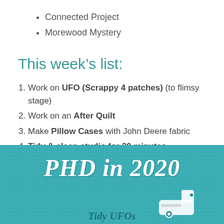Connected Project
Morewood Mystery
This week's list:
Work on UFO (Scrappy 4 patches) (to flimsy stage)
Work on an After Quilt
Make Pillow Cases with John Deere fabric
Tidy & clean studio for 30 minutes
[Figure (illustration): Teal/turquoise banner with woven texture background, large italic white text 'PHD in 2020', a sewing machine illustration in the bottom right, and partial italic teal text at the bottom reading 'Tidy UFOs']